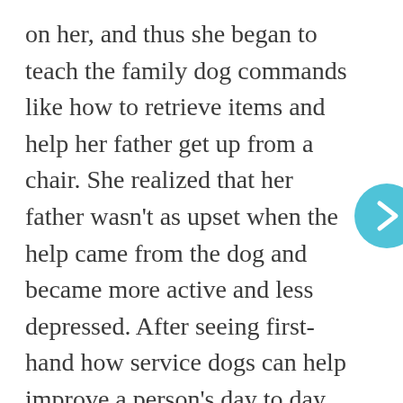on her, and thus she began to teach the family dog commands like how to retrieve items and help her father get up from a chair. She realized that her father wasn't as upset when the help came from the dog and became more active and less depressed. After seeing first-hand how service dogs can help improve a person's day to day life, Lu quit her full-time job in 1995 to start ECAD. She purchased land in Connecticut for kennels and offices, and redesigned the home her husband and two daughters lived in to start a home for ECAD. Today, they have training facilities in both Connecticut as well as New York and have